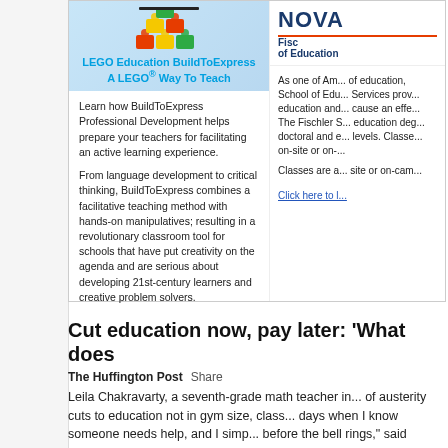[Figure (illustration): LEGO Education BuildToExpress advertisement banner with LEGO bricks image and text 'LEGO Education BuildToExpress A LEGO Way To Teach']
Learn how BuildToExpress Professional Development helps prepare your teachers for facilitating an active learning experience.

From language development to critical thinking, BuildToExpress combines a facilitative teaching method with hands-on manipulatives; resulting in a revolutionary classroom tool for schools that have put creativity on the agenda and are serious about developing 21st-century learners and creative problem solvers.
[Figure (logo): NOVA Southeastern University Fischler School of Education logo with partial text visible]
As one of Am... of education, School of Edu... Services prov... education and... cause an effe... The Fischler S... education deg... doctoral and e... levels. Classe... on-site or on-...

Classes are a... site or on-cam...

Click here to l...
Cut education now, pay later: 'What does
The Huffington Post    Share
Leila Chakravarty, a seventh-grade math teacher in... of austerity cuts to education not in gym size, class... days when I know someone needs help, and I simp... before the bell rings," said Chakravarty, who noted... "What does this kind of negligence do to our stude...